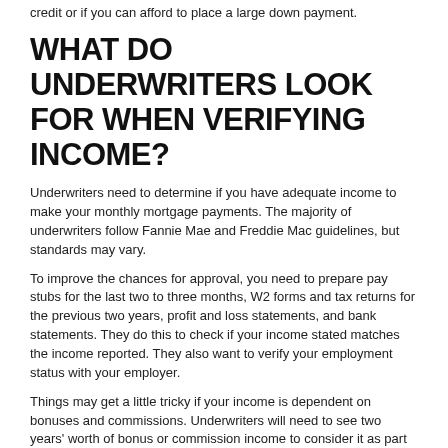credit or if you can afford to place a large down payment.
WHAT DO UNDERWRITERS LOOK FOR WHEN VERIFYING INCOME?
Underwriters need to determine if you have adequate income to make your monthly mortgage payments. The majority of underwriters follow Fannie Mae and Freddie Mac guidelines, but standards may vary.
To improve the chances for approval, you need to prepare pay stubs for the last two to three months, W2 forms and tax returns for the previous two years, profit and loss statements, and bank statements. They do this to check if your income stated matches the income reported. They also want to verify your employment status with your employer.
Things may get a little tricky if your income is dependent on bonuses and commissions. Underwriters will need to see two years' worth of bonus or commission income to consider it as part of their income.